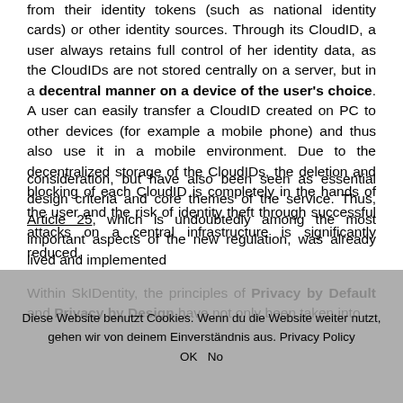from their identity tokens (such as national identity cards) or other identity sources. Through its CloudID, a user always retains full control of her identity data, as the CloudIDs are not stored centrally on a server, but in a decentral manner on a device of the user's choice. A user can easily transfer a CloudID created on PC to other devices (for example a mobile phone) and thus also use it in a mobile environment. Due to the decentralized storage of the CloudIDs, the deletion and blocking of each CloudID is completely in the hands of the user and the risk of identity theft through successful attacks on a central infrastructure is significantly reduced.
Within SkIDentity, the principles of Privacy by Default and Privacy by Design have not only been taken into consideration, but have also been seen as essential design criteria and core themes of the service. Thus, Article 25, which is undoubtedly among the most important aspects of the new regulation, was already lived and implemented
Diese Website benutzt Cookies. Wenn du die Website weiter nutzt, gehen wir von deinem Einverständnis aus. Privacy Policy OK No